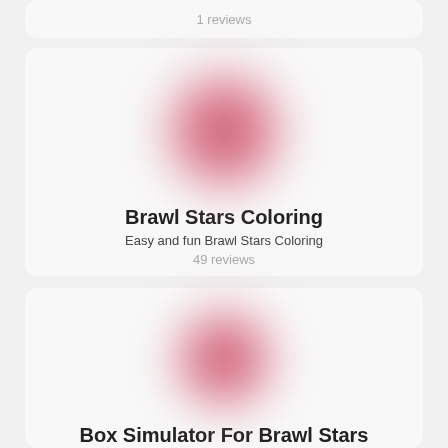1 reviews
[Figure (illustration): Pink blurred blob icon for Brawl Stars Coloring app]
Brawl Stars Coloring
Easy and fun Brawl Stars Coloring
49 reviews
[Figure (illustration): Pink blurred blob icon for Box Simulator For Brawl Stars app]
Box Simulator For Brawl Stars
Box simulator with great functionality. Open the boxes and be happy. Good luck.
84 reviews